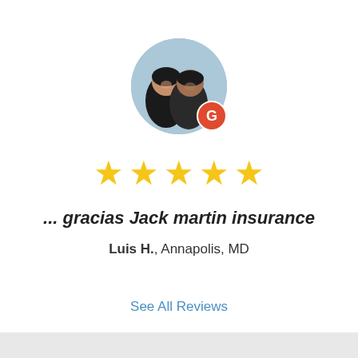[Figure (photo): Circular profile photo of a couple (man and woman smiling), with a Google 'G' badge icon overlaid at the bottom-right of the circle.]
[Figure (infographic): Five gold star rating icons displayed in a row, indicating a 5-star review.]
... gracias Jack martin insurance
Luis H., Annapolis, MD
See All Reviews